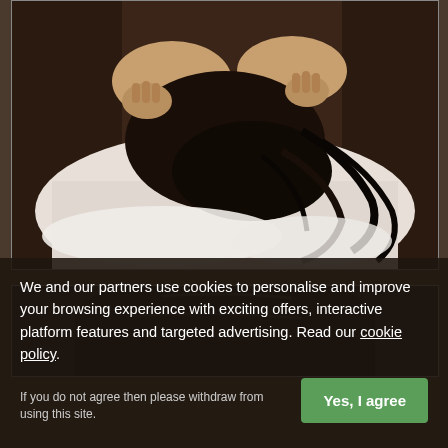[Figure (photo): A person lying down with dark curly hair spread out on white bedding, with hands visible holding their head]
[Figure (photo): Partial photo of a person in dark clothing, partially obscured by cookie consent overlay]
We and our partners use cookies to personalise and improve your browsing experience with exciting offers, interactive platform features and targeted advertising. Read our cookie policy.
If you do not agree then please withdraw from using this site.